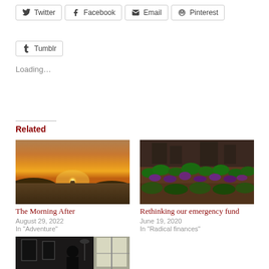Twitter
Facebook
Email
Pinterest
Tumblr
Loading…
Related
[Figure (photo): Road leading to sunset horizon with orange and golden sky]
The Morning After
August 29, 2022
In "Adventure"
[Figure (photo): Garden with purple and green plants growing on soil slope]
Rethinking our emergency fund
June 19, 2020
In "Radical finances"
[Figure (photo): Interior room with person, dark walls, window with light]